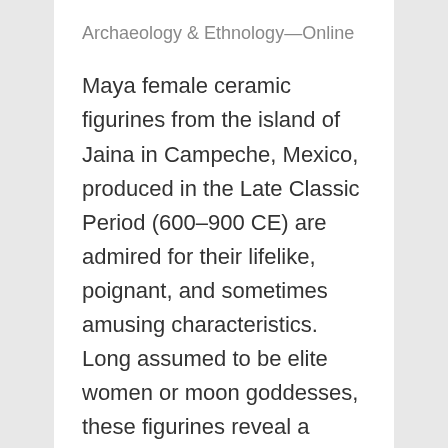Archaeology & Ethnology—Online
Maya female ceramic figurines from the island of Jaina in Campeche, Mexico, produced in the Late Classic Period (600–900 CE) are admired for their lifelike, poignant, and sometimes amusing characteristics. Long assumed to be elite women or moon goddesses, these figurines reveal a complexity of Maya social life, especially for women, that is rarely seen in other painted ceramics or monumental sculpture. They also offer insights into the culture of Jaina Island, including